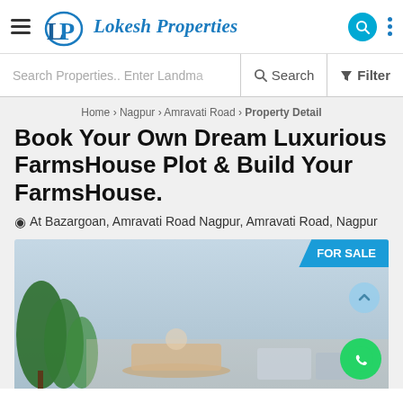Lokesh Properties
Search Properties.. Enter Landmark   Search   Filter
Home › Nagpur › Amravati Road › Property Detail
Book Your Own Dream Luxurious FarmsHouse Plot & Build Your FarmsHouse.
At Bazargoan, Amravati Road Nagpur, Amravati Road, Nagpur
[Figure (photo): Property listing photo showing a farmhouse exterior with plants and outdoor furniture. A 'FOR SALE' badge is shown in the top-right corner of the image.]